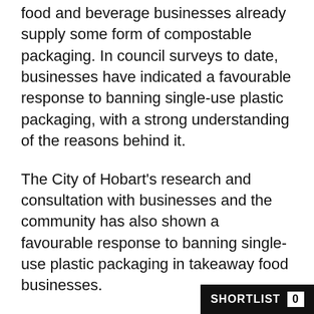food and beverage businesses already supply some form of compostable packaging. In council surveys to date, businesses have indicated a favourable response to banning single-use plastic packaging, with a strong understanding of the reasons behind it.
The City of Hobart's research and consultation with businesses and the community has also shown a favourable response to banning single-use plastic packaging in takeaway food businesses.
In a community survey conducted from February to March 2018, 90 per cent of respondents said they were willing to pay more for food and drinks if it meant that sustainable packaging was used with 96 per cent disagreeing whe